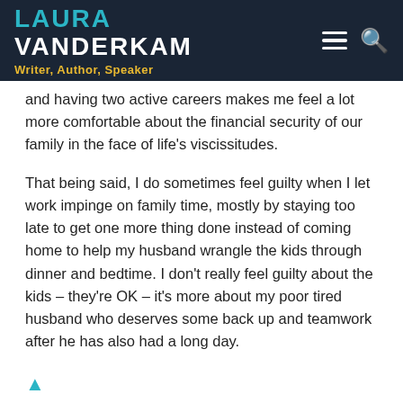LAURA VANDERKAM — Writer, Author, Speaker
and having two active careers makes me feel a lot more comfortable about the financial security of our family in the face of life's viscissitudes.
That being said, I do sometimes feel guilty when I let work impinge on family time, mostly by staying too late to get one more thing done instead of coming home to help my husband wrangle the kids through dinner and bedtime. I don't really feel guilty about the kids – they're OK – it's more about my poor tired husband who deserves some back up and teamwork after he has also had a long day.